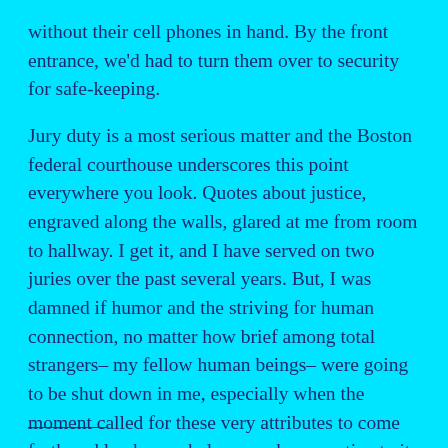without their cell phones in hand. By the front entrance, we'd had to turn them over to security for safe-keeping.
Jury duty is a most serious matter and the Boston federal courthouse underscores this point everywhere you look. Quotes about justice, engraved along the walls, glared at me from room to hallway. I get it, and I have served on two juries over the past several years. But, I was damned if humor and the striving for human connection, no matter how brief among total strangers– my fellow human beings– were going to be shut down in me, especially when the moment called for these very attributes to come forth and lend some balance and perspective to it all.
——